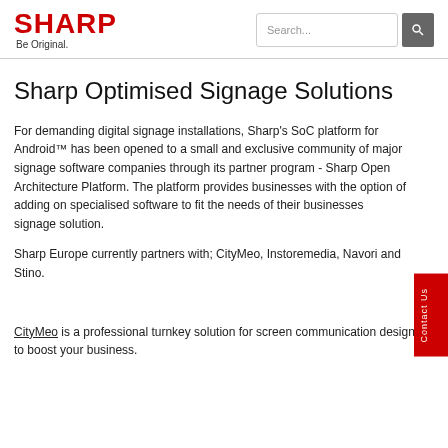SHARP Be Original. Search...
Sharp Optimised Signage Solutions
For demanding digital signage installations, Sharp's SoC platform for Android™ has been opened to a small and exclusive community of major signage software companies through its partner program - Sharp Open Architecture Platform. The platform provides businesses with the option of adding on specialised software to fit the needs of their businesses signage solution.
Sharp Europe currently partners with; CityMeo, Instoremedia, Navori and Stino.
CityMeo is a professional turnkey solution for screen communication designed to boost your business.